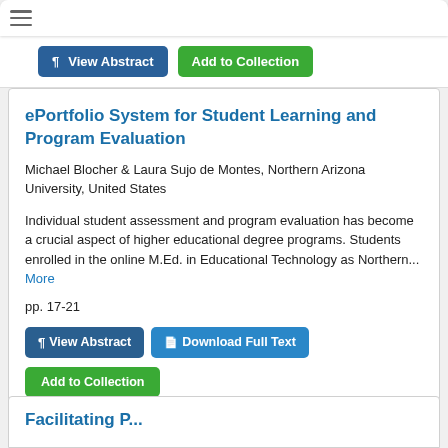[Figure (screenshot): Top navigation bar with hamburger menu icon]
[Figure (screenshot): Two buttons: View Abstract (blue) and Add to Collection (green)]
ePortfolio System for Student Learning and Program Evaluation
Michael Blocher & Laura Sujo de Montes, Northern Arizona University, United States
Individual student assessment and program evaluation has become a crucial aspect of higher educational degree programs. Students enrolled in the online M.Ed. in Educational Technology as Northern... More
pp. 17-21
[Figure (screenshot): Three buttons: View Abstract (dark blue), Download Full Text (blue), Add to Collection (green)]
Facilitating... P...